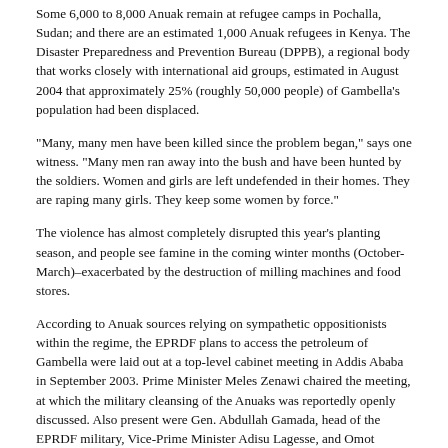Some 6,000 to 8,000 Anuak remain at refugee camps in Pochalla, Sudan; and there are an estimated 1,000 Anuak refugees in Kenya. The Disaster Preparedness and Prevention Bureau (DPPB), a regional body that works closely with international aid groups, estimated in August 2004 that approximately 25% (roughly 50,000 people) of Gambella's population had been displaced.
"Many, many men have been killed since the problem began," says one witness. "Many men ran away into the bush and have been hunted by the soldiers. Women and girls are left undefended in their homes. They are raping many girls. They keep some women by force."
The violence has almost completely disrupted this year's planting season, and people see famine in the coming winter months (October-March)–exacerbated by the destruction of milling machines and food stores.
According to Anuak sources relying on sympathetic oppositionists within the regime, the EPRDF plans to access the petroleum of Gambella were laid out at a top-level cabinet meeting in Addis Ababa in September 2003. Prime Minister Meles Zenawi chaired the meeting, at which the military cleansing of the Anuaks was reportedly openly discussed. Also present were Gen. Abdullah Gamada, head of the EPRDF military, Vice-Prime Minister Adisu Lagesse, and Omot Obang Olom, security chief for the Gambella region, an ethnic Anuak. Petroleum operations–heavily guarded by EPRDF troops–are rapidly moving forward.
THE "RWANDA MODEL" IN GAMBELLA
While there is a history of communal violence between indigenous minorities in the Gambella region, evidence attests to patterns of EPRDF government provocation, pitting tribe against tribe and neighbor against neighbor.